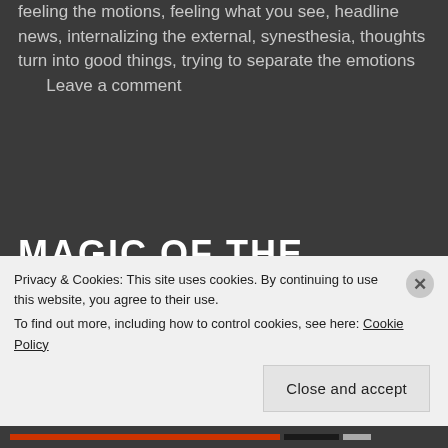feeling the motions, feeling what you see, headline news, internalizing the external, synesthesia, thoughts turn into good things, trying to separate the emotions      Leave a comment
MAGIC OF THE ROCKS
By martyjreep in Creative Writing, Short Stories
Thousands of glittering bits of light shone up at me, greeting my eyes with their iridescent appearance and reflection. Not that it was overwhelming – it wasn't. It was that their lighted reflections were
Privacy & Cookies: This site uses cookies. By continuing to use this website, you agree to their use.
To find out more, including how to control cookies, see here: Cookie Policy
Close and accept